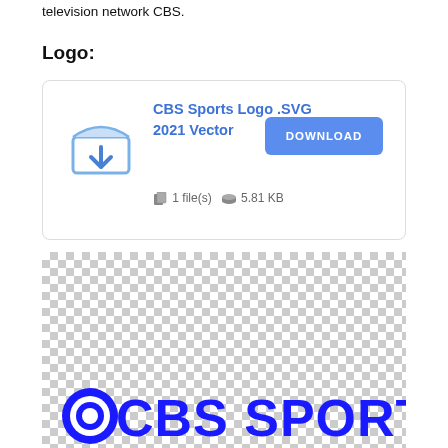television network CBS.
Logo:
[Figure (screenshot): Download card for CBS Sports Logo .SVG 2021 Vector file, showing a download icon, file title in blue, 1 file(s), 5.81 KB, and a blue DOWNLOAD button]
[Figure (logo): CBS Sports logo on a transparent (checkered) background. Shows the eye CBS logo followed by CBS SPORTS in bold blue text.]